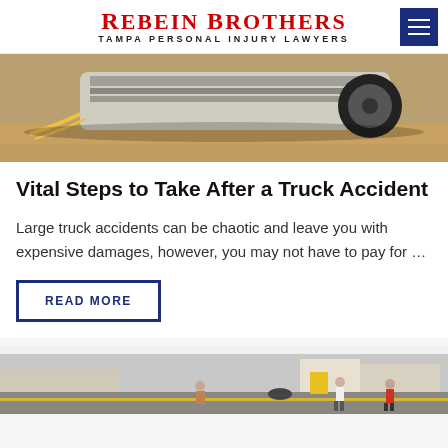REBEIN BROTHERS — TAMPA PERSONAL INJURY LAWYERS
[Figure (photo): Overturned truck on road, showing undercarriage and wheel]
Vital Steps to Take After a Truck Accident
Large truck accidents can be chaotic and leave you with expensive damages, however, you may not have to pay for …
READ MORE
[Figure (photo): Street scene with pedestrians walking on sidewalk]